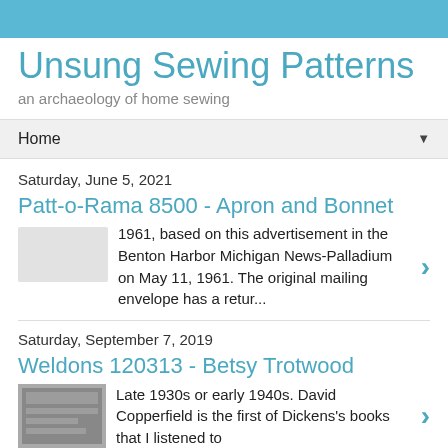Unsung Sewing Patterns
an archaeology of home sewing
Home
Saturday, June 5, 2021
Patt-o-Rama 8500 - Apron and Bonnet
1961, based on this advertisement in the Benton Harbor Michigan News-Palladium on May 11, 1961.  The original mailing envelope has a retur...
Saturday, September 7, 2019
Weldons 120313 - Betsy Trotwood
Late 1930s or early 1940s. David Copperfield is the first of Dickens's books that I listened to